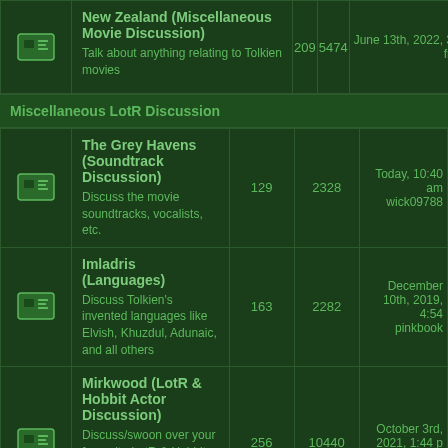|  | Forum | Topics | Posts | Last Post |
| --- | --- | --- | --- | --- |
|  | New Zealand (Miscellaneous Movie Discussion)
Talk about anything relating to Tolkien movies | 209 | 5474 | June 13th, 2022, 3:16 am
fridnorell |
Miscellaneous LotR Discussion
|  | Forum | Topics | Posts | Last Post |
| --- | --- | --- | --- | --- |
|  | The Grey Havens (Soundtrack Discussion)
Discuss the movie soundtracks, vocalists, etc. | 129 | 2328 | Today, 10:40 am
wick09788 |
|  | Imladris (Languages)
Discuss Tolkien's invented languages like Elvish, Khuzdul, Adunaic, and all others | 163 | 2282 | December 10th, 2019, 4:54
pinkbook |
|  | Mirkwood (LotR & Hobbit Actor Discussion)
Discuss/swoon over your favourite LotR & Hobbit actors
Subforum: Belfalas (The Actors' Movies) | 256 | 10440 | October 3rd, 2021, 1:44 pm
bilbobaggins |